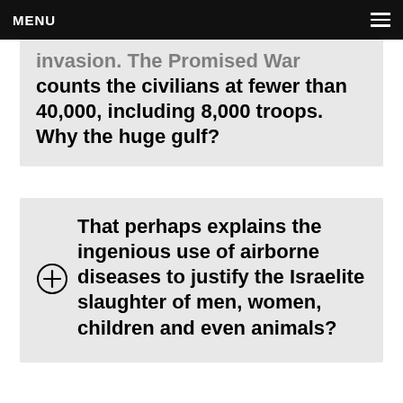MENU
invasion. The Promised War counts the civilians at fewer than 40,000, including 8,000 troops. Why the huge gulf?
That perhaps explains the ingenious use of airborne diseases to justify the Israelite slaughter of men, women, children and even animals?